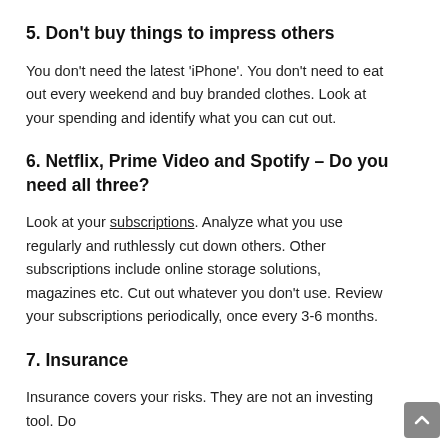5. Don't buy things to impress others
You don't need the latest 'iPhone'. You don't need to eat out every weekend and buy branded clothes. Look at your spending and identify what you can cut out.
6. Netflix, Prime Video and Spotify – Do you need all three?
Look at your subscriptions. Analyze what you use regularly and ruthlessly cut down others. Other subscriptions include online storage solutions, magazines etc. Cut out whatever you don't use. Review your subscriptions periodically, once every 3-6 months.
7. Insurance
Insurance covers your risks. They are not an investing tool. Do